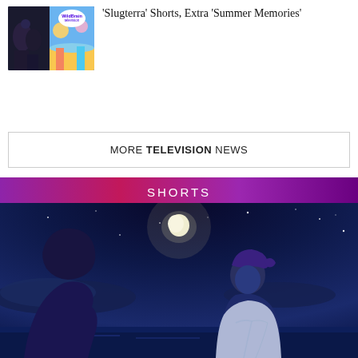[Figure (photo): Thumbnail image with WildBrain Television logo on left side and animated cartoon characters on right side (beach/summer scene with kids)]
‘Slugterra’ Shorts, Extra ‘Summer Memories’
MORE TELEVISION NEWS
SHORTS
[Figure (illustration): Animated night scene illustration showing two characters sitting by water under a moonlit sky with stars and clouds. Blue-toned artwork with a romantic/dramatic atmosphere.]